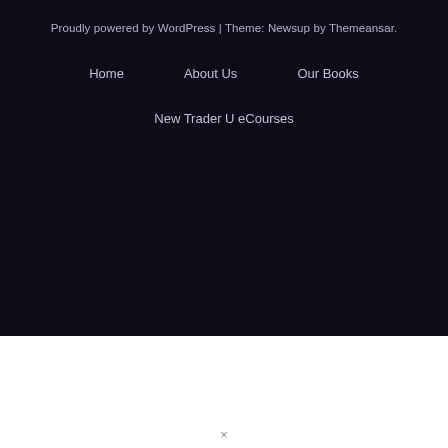Proudly powered by WordPress | Theme: Newsup by Themeansar.
Home   About Us   Our Books
New Trader U eCourses
×